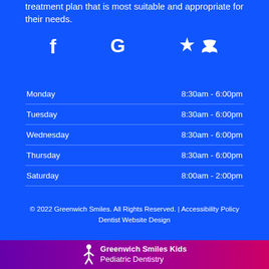treatment plan that is most suitable and appropriate for their needs.
[Figure (illustration): Social media icons: Facebook (f), Google (G), and RSS feed icon, displayed in white on blue background]
| Monday | 8:30am - 6:00pm |
| Tuesday | 8:30am - 6:00pm |
| Wednesday | 8:30am - 6:00pm |
| Thursday | 8:30am - 6:00pm |
| Saturday | 8:00am - 2:00pm |
© 2022 Greenwich Smiles. All Rights Reserved. | Accessibility Policy
Dentist Website Design
Greenwich Smiles Kids Pediatric Dentistry